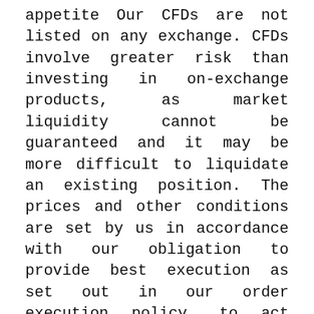appetite Our CFDs are not listed on any exchange. CFDs involve greater risk than investing in on-exchange products, as market liquidity cannot be guaranteed and it may be more difficult to liquidate an existing position. The prices and other conditions are set by us in accordance with our obligation to provide best execution as set out in our order execution policy, to act reasonably and in accordance with the applicable Terms and Conditions. The characteristics of our CFDs can vary substantially from the actual underlying market or instrument. Full details of all of our CFDs are set out on our website. In respect of corporate events with respect to the underlying assets. We do not aim to